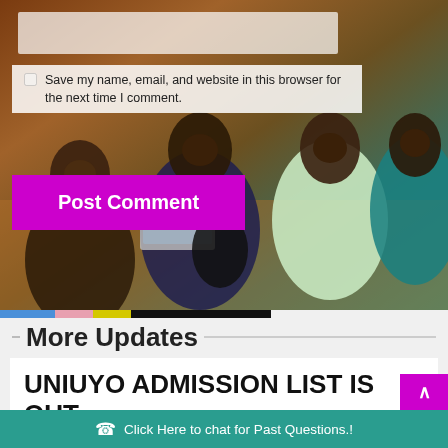[Figure (photo): Group of African university students sitting together, smiling, with backpacks and a laptop, in a school hallway with brick flooring]
Save my name, email, and website in this browser for the next time I comment.
Post Comment
More Updates
UNIUYO ADMISSION LIST IS OUT
Admin — August 30, 2022
Click Here to chat for Past Questions.!